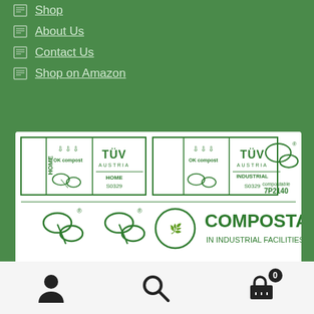Shop
About Us
Contact Us
Shop on Amazon
[Figure (illustration): Compostable certification logos: TUV Austria OK compost HOME S0329, TUV Austria OK compost INDUSTRIAL S0329, and seedling compostable logo 7P2140. Bottom section shows compostable seedling logos and text 'COMPOSTABLE IN INDUSTRIAL FACILITIES'.]
User icon | Search icon | Cart icon (0)